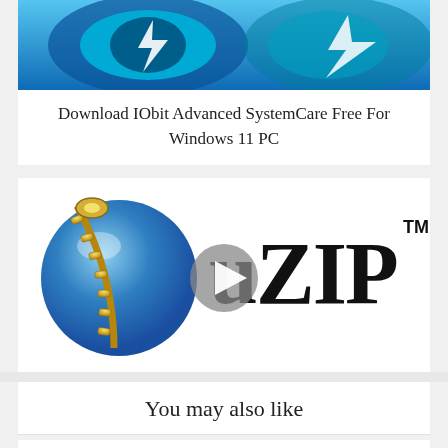[Figure (logo): IOBit Advanced SystemCare logo — blue and teal circular icon with lightning bolt]
Download IObit Advanced SystemCare Free For Windows 11 PC
[Figure (logo): uZip logo with blue globe with zipper and uZIP text in large black bold font, with play button overlay and TM superscript]
Download uZip Latest Version For Windows 11 PC
You may also like
Software
Download KMPlayer Windows 11 PC